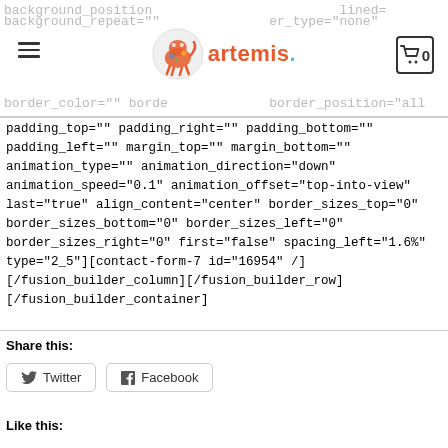artemis. (logo with navigation header)
padding_top="" padding_right="" padding_bottom="" padding_left="" margin_top="" margin_bottom="" animation_type="" animation_direction="down" animation_speed="0.1" animation_offset="top-into-view" last="true" align_content="center" border_sizes_top="0" border_sizes_bottom="0" border_sizes_left="0" border_sizes_right="0" first="false" spacing_left="1.6%" type="2_5"][contact-form-7 id="16954" /] [/fusion_builder_column][/fusion_builder_row] [/fusion_builder_container]
Share this:
Twitter  Facebook
Like this: